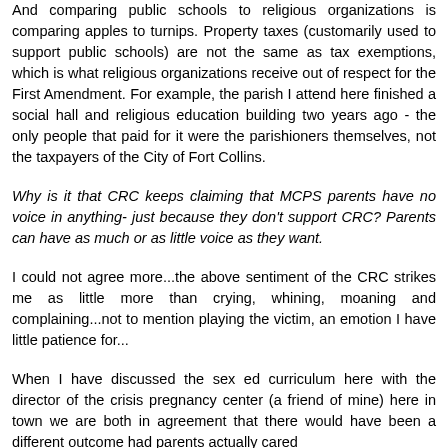And comparing public schools to religious organizations is comparing apples to turnips. Property taxes (customarily used to support public schools) are not the same as tax exemptions, which is what religious organizations receive out of respect for the First Amendment. For example, the parish I attend here finished a social hall and religious education building two years ago - the only people that paid for it were the parishioners themselves, not the taxpayers of the City of Fort Collins.
Why is it that CRC keeps claiming that MCPS parents have no voice in anything- just because they don't support CRC? Parents can have as much or as little voice as they want.
I could not agree more...the above sentiment of the CRC strikes me as little more than crying, whining, moaning and complaining...not to mention playing the victim, an emotion I have little patience for...
When I have discussed the sex ed curriculum here with the director of the crisis pregnancy center (a friend of mine) here in town we are both in agreement that there would have been a different outcome had parents actually cared